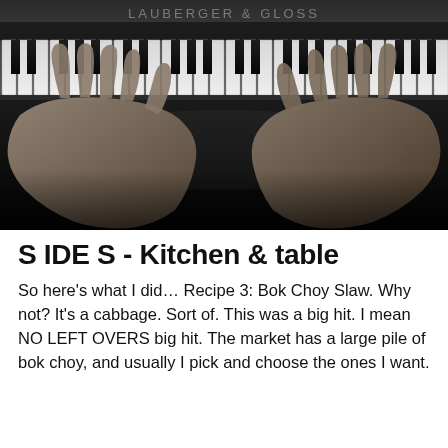[Figure (photo): Black and white photograph of elderly hands playing piano keys. The piano brand 'Lauberger & Gloss' is faintly visible at the top of the image.]
S IDE S - Kitchen & table
So here's what I did… Recipe 3: Bok Choy Slaw. Why not? It's a cabbage. Sort of. This was a big hit. I mean NO LEFT OVERS big hit. The market has a large pile of bok choy, and usually I pick and choose the ones I want.